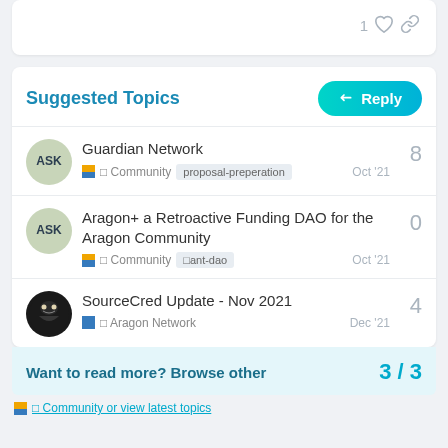1 ♡ 🔗
Suggested Topics
Reply
Guardian Network — Community, proposal-preperation — Oct '21 — 8 replies
Aragon+ a Retroactive Funding DAO for the Aragon Community — Community, cant-dao — Oct '21 — 0 replies
SourceCred Update - Nov 2021 — Aragon Network — Dec '21 — 4 replies
Want to read more? Browse other — 3 / 3